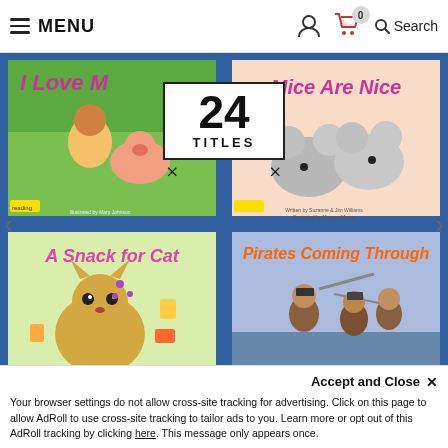MENU | Search
[Figure (illustration): Carousel of children's book covers: 'I Love M...' (child with pig), '24 TITLES' center overlay, 'Mice Are Nice', 'A Snack for Cat', 'Pirates Coming Through']
Reading for Fluency 24-Book Set
Accept and Close ×
Your browser settings do not allow cross-site tracking for advertising. Click on this page to allow AdRoll to use cross-site tracking to tailor ads to you. Learn more or opt out of this AdRoll tracking by clicking here. This message only appears once.